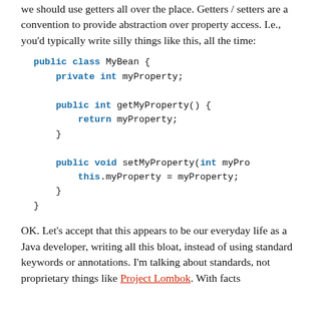we should use getters all over the place. Getters / setters are a convention to provide abstraction over property access. I.e., you'd typically write silly things like this, all the time:
public class MyBean {
    private int myProperty;

    public int getMyProperty() {
        return myProperty;
    }

    public void setMyProperty(int myPro
        this.myProperty = myProperty;
    }
}
OK. Let's accept that this appears to be our everyday life as a Java developer, writing all this bloat, instead of using standard keywords or annotations. I'm talking about standards, not proprietary things like Project Lombok. With facts